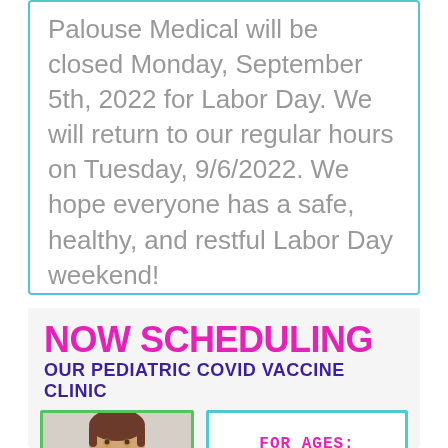Palouse Medical will be closed Monday, September 5th, 2022 for Labor Day. We will return to our regular hours on Tuesday, 9/6/2022. We hope everyone has a safe, healthy, and restful Labor Day weekend!
[Figure (infographic): NOW SCHEDULING OUR PEDIATRIC COVID VACCINE CLINIC. Shows a young child smiling, with a box indicating FOR AGES: 6 MONTHS - (cut off)]